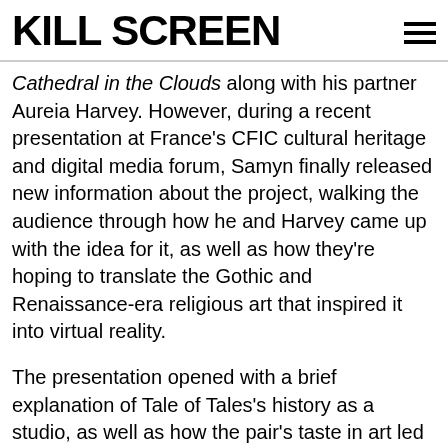KILL SCREEN
Cathedral in the Clouds along with his partner Aureia Harvey. However, during a recent presentation at France's CFIC cultural heritage and digital media forum, Samyn finally released new information about the project, walking the audience through how he and Harvey came up with the idea for it, as well as how they're hoping to translate the Gothic and Renaissance-era religious art that inspired it into virtual reality.
The presentation opened with a brief explanation of Tale of Tales's history as a studio, as well as how the pair's taste in art led them to games in the first place. "The art that we enjoy tends to be older," explained Samyn, referencing the many cathedrals and religious structures of their current hometown of